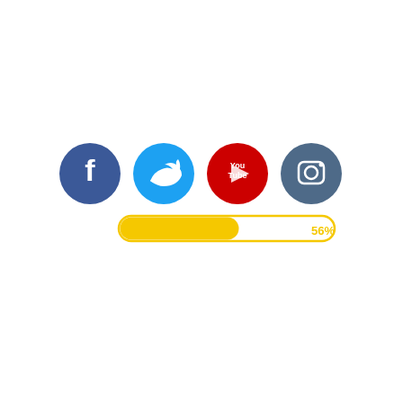[Figure (infographic): Four social media icons in circles: Facebook (dark blue), Twitter (light blue), YouTube (red), Instagram (dark blue-grey). Below them is a yellow progress bar at 56% fill with yellow border and yellow '56%' label to the right.]